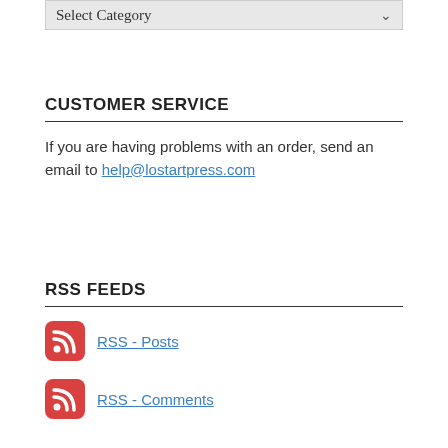[Figure (other): Select Category dropdown control]
CUSTOMER SERVICE
If you are having problems with an order, send an email to help@lostartpress.com
RSS FEEDS
RSS - Posts
RSS - Comments